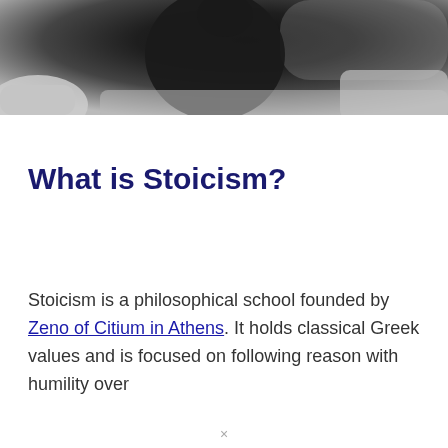[Figure (photo): A person dressed in dark clothing sitting on a white/light grey couch or sofa, photographed in a dark, moody setting. The image is cropped to show the upper portion of the page.]
What is Stoicism?
Stoicism is a philosophical school founded by Zeno of Citium in Athens. It holds classical Greek values and is focused on following reason with humility over